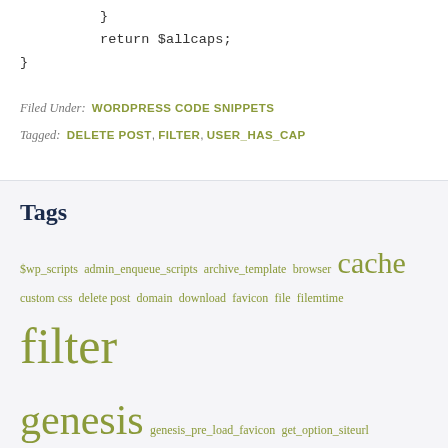}
    return $allcaps;
}
Filed Under: WORDPRESS CODE SNIPPETS
Tagged: DELETE POST, FILTER, USER_HAS_CAP
Tags
$wp_scripts admin_enqueue_scripts archive_template browser cache custom css delete post domain download favicon file filemtime filter genesis genesis_pre_load_favicon get_option_siteurl get_query_template get_stylesheet_directory get_stylesheet_directory_uri